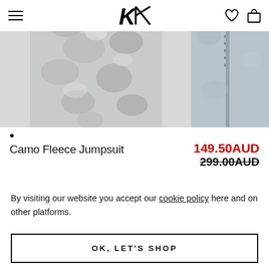[Figure (photo): Product photo of Camo Fleece Jumpsuit — two views of grey camouflage pattern legs/lower body, and a close-up of a grey fleece zipper detail on the right]
Camo Fleece Jumpsuit   149.50AUD   299.00AUD
Get cozy for winter with the New Camo Fl…
By visiting our website you accept our cookie policy here and on other platforms.
OK, LET'S SHOP